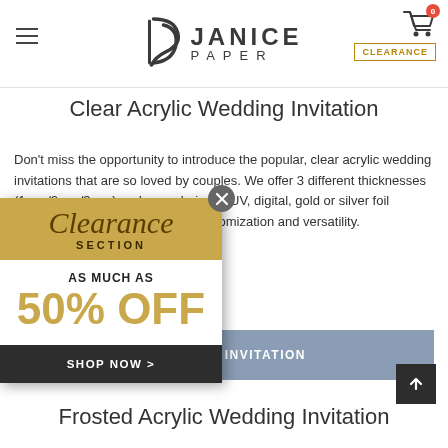JANICE PAPER — navigation header with hamburger menu, logo, cart (0 items), and CLEARANCE button
Clear Acrylic Wedding Invitation
Don't miss the opportunity to introduce the popular, clear acrylic wedding invitations that are so loved by couples. We offer 3 different thicknesses (1mm/2mm/3mm) and your choice of UV, digital, gold or silver foil printing on them for even more customization and versatility.
[Figure (other): Clearance section popup overlay showing 'Clearance SECTION — AS MUCH AS 50% OFF — SHOP NOW >' with close button]
R ACRYLIC INVITATION
Frosted Acrylic Wedding Invitation